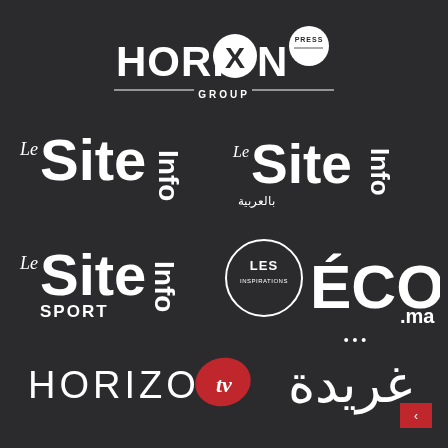[Figure (logo): Horizon Press Group logo - white text with a circled X replacing the O in HORIZON, with a white circle containing PRESS text, and GROUP written below with horizontal lines]
[Figure (logo): Le Site Info logo in white on dark background - French news website logo]
[Figure (logo): Le Site Info Arabic version logo - same as Le Site Info but with Arabic text below]
[Figure (logo): Le Site Info Sport logo - sports news website logo in white]
[Figure (logo): Les Inspirations ECO.ma logo - circle with LES INSPIRATIONS text and ECO.ma in large white letters]
[Figure (logo): Horizon TV logo - HORIZON in white letters with tv in a red teardrop/play button shape]
[Figure (logo): Arabic logo (Gharida/خريدة) in white Arabic script with a small red square containing an up arrow]